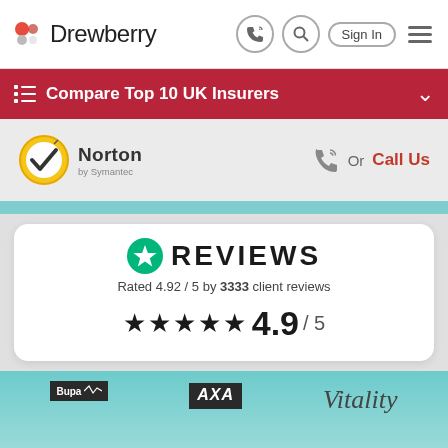Drewberry
Compare Top 10 UK Insurers
[Figure (logo): Norton by Symantec security logo with gold ring and checkmark]
Or Call Us
[Figure (infographic): Trustpilot-style reviews widget showing: Rated 4.92 / 5 by 3333 client reviews, star rating 4.9 / 5]
Rated 4.92 / 5 by 3333 client reviews
★★★★★ 4.9 / 5
[Figure (logo): Bupa logo in dark box]
[Figure (logo): AXA logo in dark box]
[Figure (logo): Vitality logo in italic script]